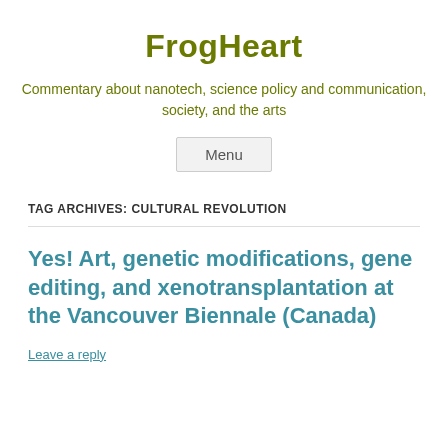FrogHeart
Commentary about nanotech, science policy and communication, society, and the arts
Menu
TAG ARCHIVES: CULTURAL REVOLUTION
Yes! Art, genetic modifications, gene editing, and xenotransplantation at the Vancouver Biennale (Canada)
Leave a reply